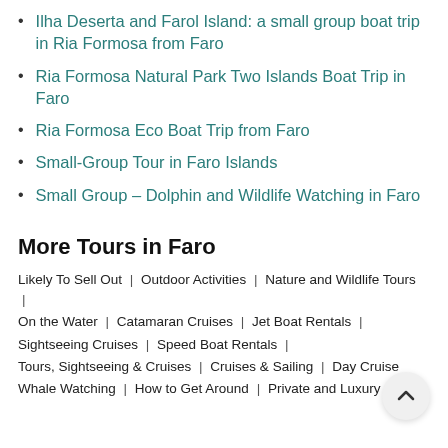Ilha Deserta and Farol Island: a small group boat trip in Ria Formosa from Faro
Ria Formosa Natural Park Two Islands Boat Trip in Faro
Ria Formosa Eco Boat Trip from Faro
Small-Group Tour in Faro Islands
Small Group - Dolphin and Wildlife Watching in Faro
More Tours in Faro
Likely To Sell Out | Outdoor Activities | Nature and Wildlife Tours |
On the Water | Catamaran Cruises | Jet Boat Rentals |
Sightseeing Cruises | Speed Boat Rentals |
Tours, Sightseeing & Cruises | Cruises & Sailing | Day Cruise
Whale Watching | How to Get Around | Private and Luxury |